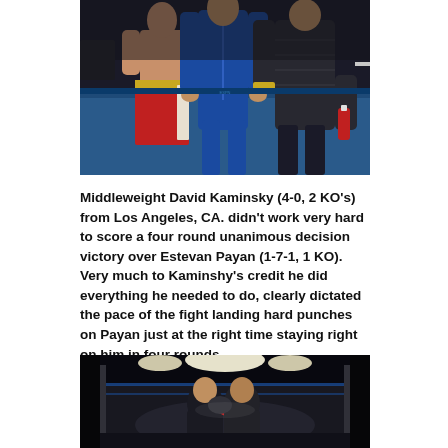[Figure (photo): Three people posing in a boxing ring. A shirtless boxer wearing red and gold 'KAMINSKY' shorts stands on the left, a person in a blue tracksuit in the middle, and a man in a dark puffer jacket on the right.]
Middleweight David Kaminsky (4-0, 2 KO's) from Los Angeles, CA. didn't work very hard to score a four round unanimous decision victory over Estevan Payan (1-7-1, 1 KO). Very much to Kaminshy's credit he did everything he needed to do, clearly dictated the pace of the fight landing hard punches on Payan just at the right time staying right on him in four rounds.
[Figure (photo): Boxing match action shot in a dark arena with bright ring lights. Two fighters clinching or exchanging punches in a brightly lit boxing ring.]